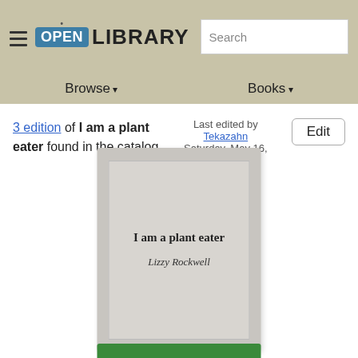OPEN LIBRARY — Browse | Books | Search
3 edition of I am a plant eater found in the catalog.
Last edited by Tekazahn
Saturday, May 16, 2020 | History
Edit
[Figure (illustration): Book cover placeholder showing title 'I am a plant eater' and author 'Lizzy Rockwell' on a grey background]
I am a plant eater
Lizzy Rockwell